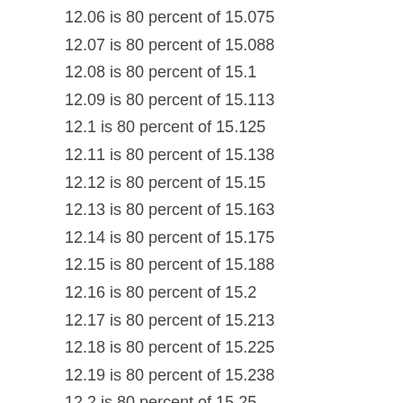12.06 is 80 percent of 15.075
12.07 is 80 percent of 15.088
12.08 is 80 percent of 15.1
12.09 is 80 percent of 15.113
12.1 is 80 percent of 15.125
12.11 is 80 percent of 15.138
12.12 is 80 percent of 15.15
12.13 is 80 percent of 15.163
12.14 is 80 percent of 15.175
12.15 is 80 percent of 15.188
12.16 is 80 percent of 15.2
12.17 is 80 percent of 15.213
12.18 is 80 percent of 15.225
12.19 is 80 percent of 15.238
12.2 is 80 percent of 15.25
12.21 is 80 percent of 15.263
12.22 is 80 percent of 15.275
12.23 is 80 percent of 15.288
12.24 is 80 percent of 15.3
12.25 is 80 percent of 15.313
12.26 is 80 percent of 15.325
12.27 is 80 percent of 15.338
12.28 is 80 percent of 15.35